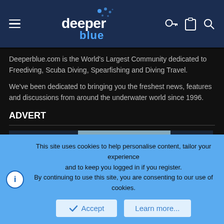deeper blue (logo/nav bar)
Deeperblue.com is the World's Largest Community dedicated to Freediving, Scuba Diving, Spearfishing and Diving Travel.
We've been dedicated to bringing you the freshest news, features and discussions from around the underwater world since 1996.
ADVERT
[Figure (photo): Advertisement image showing a woman wearing a dark t-shirt with a diving/ocean graphic, standing near water, wearing sunglasses.]
This site uses cookies to help personalise content, tailor your experience and to keep you logged in if you register.
By continuing to use this site, you are consenting to our use of cookies.